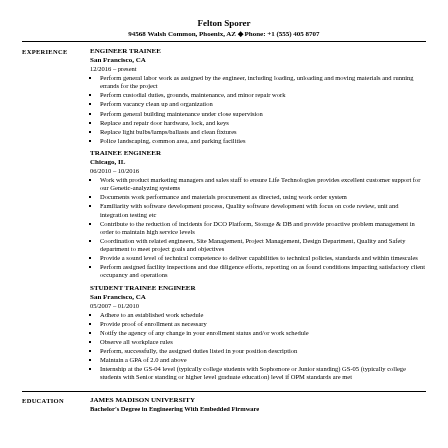Felton Sporer
94568 Walsh Common, Phoenix, AZ ♦ Phone: +1 (555) 405 8707
EXPERIENCE
ENGINEER TRAINEE
San Francisco, CA
12/2016 – present
Perform general labor work as assigned by the engineer, including loading, unloading and moving materials and running errands for the project
Perform custodial duties, grounds, maintenance, and minor repair work
Perform vacancy clean up and organization
Perform general building maintenance under close supervision
Replace and repair door hardware, lock, and keys
Replace light bulbs/lamps/ballasts and clean fixtures
Police landscaping, common area, and parking facilities
TRAINEE ENGINEER
Chicago, IL
06/2010 – 10/2016
Work with product marketing managers and sales staff to ensure Life Technologies provides excellent customer support for our Genetic-analyzing systems
Documents work performance and materials procurement as directed, using work order system
Familiarity with software development process, Quality software development with focus on code review, unit and integration testing etc
Contribute to the reduction of incidents for DCO Platform, Storage & DB and provide proactive problem management in order to maintain high service levels
Coordination with related engineers, Site Management, Project Management, Design Department, Quality and Safety department to meet project goals and objectives
Provide a sound level of technical competence to deliver capabilities to technical policies, standards and within timescales
Perform assigned facility inspections and due diligence efforts, reporting on as found conditions impacting satisfactory client occupancy and operations
STUDENT TRAINEE ENGINEER
San Francisco, CA
05/2007 – 01/2010
Adhere to an established work schedule
Provide proof of enrollment as necessary
Notify the agency of any change in your enrollment status and/or work schedule
Observe all workplace rules
Perform, successfully, the assigned duties listed in your position description
Maintain a GPA of 2.0 and above
Internship at the GS-04 level (typically college students with Sophomore or Junior standing) GS-05 (typically college students with Senior standing or higher level graduate education) level if OPM standards are met
EDUCATION
JAMES MADISON UNIVERSITY
Bachelor's Degree in Engineering With Embedded Firmware